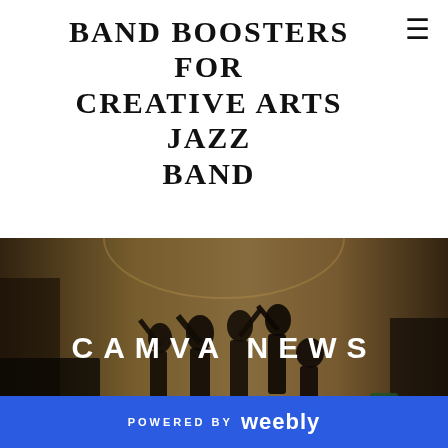BAND BOOSTERS FOR CREATIVE ARTS JAZZ BAND
[Figure (photo): Jazz band performing in an ornate hall, musicians playing various brass and woodwind instruments, dark dramatic lighting with gold tones. Text overlay reads 'CAMVA NEWS'.]
STATE FINALS WEEK IS HERE.
4/26/2012
0 Comments
NJAJE Division 1 State Finals will be held on Saturday at J.P.Stevens High School in Edison, NJ, starting at 5pm.
POWERED BY weebly